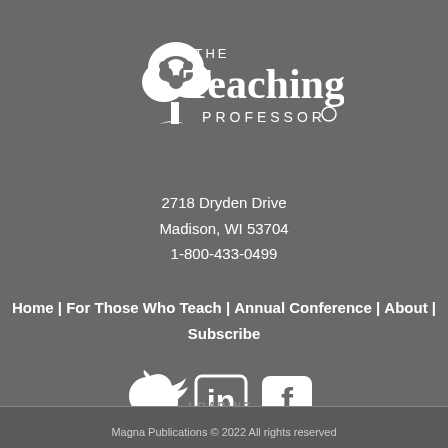[Figure (logo): The Teaching Professor logo with tree icon and text]
2718 Dryden Drive
Madison, WI 53704
1-800-433-0499
Home | For Those Who Teach | Annual Conference | About | Subscribe
[Figure (illustration): Social media icons: Twitter bird, LinkedIn 'in' square, Facebook 'f' square, with LOADING text overlay]
Magna Publications © 2022 All rights reserved